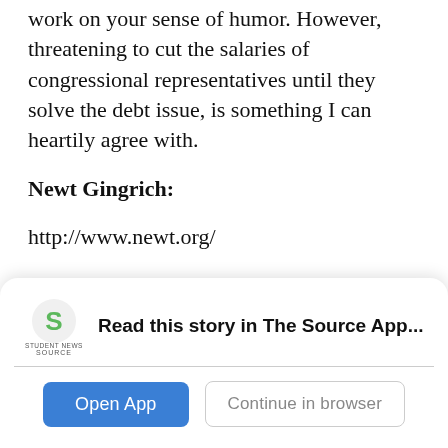work on your sense of humor. However, threatening to cut the salaries of congressional representatives until they solve the debt issue, is something I can heartily agree with.
Newt Gingrich:
http://www.newt.org/
I'll be honest. Before writing this article and the necessary research that goes along with it, I really had no idea who you were.
Perhaps, that is an error on my part. Because as I
[Figure (screenshot): App banner overlay with Student News Source logo, bold text 'Read this story in The Source App...', and two buttons: 'Open App' (blue) and 'Continue in browser' (outlined).]